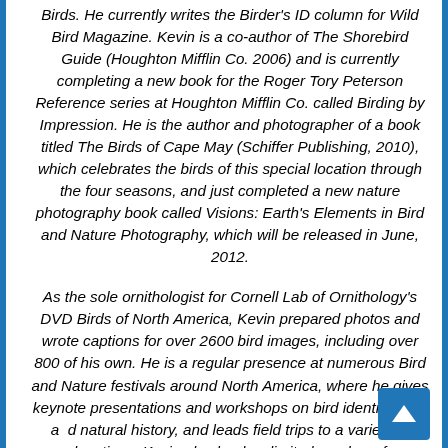Birds. He currently writes the Birder's ID column for Wild Bird Magazine. Kevin is a co-author of The Shorebird Guide (Houghton Mifflin Co. 2006) and is currently completing a new book for the Roger Tory Peterson Reference series at Houghton Mifflin Co. called Birding by Impression. He is the author and photographer of a book titled The Birds of Cape May (Schiffer Publishing, 2010), which celebrates the birds of this special location through the four seasons, and just completed a new nature photography book called Visions: Earth's Elements in Bird and Nature Photography, which will be released in June, 2012.
As the sole ornithologist for Cornell Lab of Ornithology's DVD Birds of North America, Kevin prepared photos and wrote captions for over 2600 bird images, including over 800 of his own. He is a regular presence at numerous Bird and Nature festivals around North America, where he gives keynote presentations and workshops on bird identification and natural history, and leads field trips to a variety of locations. Kevin also leads a limited number of